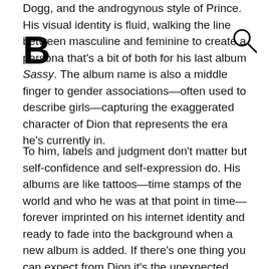Dogg, and the androgynous style of Prince. His visual identity is fluid, walking the line between masculine and feminine to create a persona that's a bit of both for his last album Sassy. The album name is also a middle finger to gender associations—often used to describe girls—capturing the exaggerated character of Dion that represents the era he's currently in.
To him, labels and judgment don't matter but self-confidence and self-expression do. His albums are like tattoos—time stamps of the world and who he was at that point in time—forever imprinted on his internet identity and ready to fade into the background when a new album is added. If there's one thing you can expect from Dion it's the unexpected. From his 2016 EP Painting Sounds and his 2019 debut album Suga to his 2021 album Sassy, he's proven he can do smooth R&B, soul, funk, pop, and everything in between. But Dion doesn't use the blueprint of the past for the future, throwing his regimented routine for releases to the wind; he recently